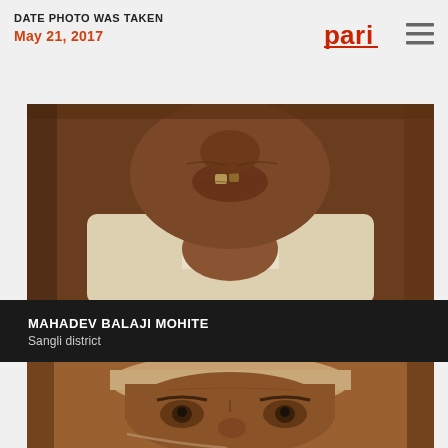DATE PHOTO WAS TAKEN
May 21, 2017
[Figure (photo): Close-up portrait of an elderly man with a severely disfigured nose and few remaining teeth, wearing a light-colored shirt]
MAHADEV BALAJI MOHITE
Sangli district
[Figure (photo): Close-up portrait of an elderly woman wearing a head covering, showing deeply wrinkled face with aged eyes]